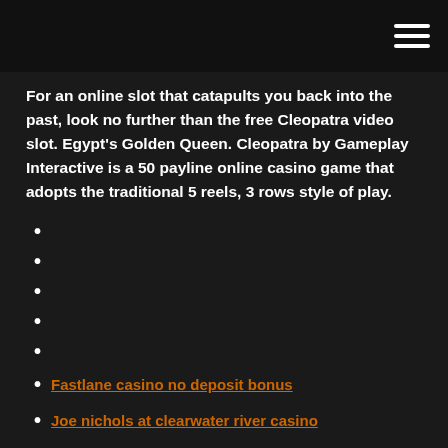[hamburger menu icon]
For an online slot that catapults you back into the past, look no further than the free Cleopatra video slot. Egypt's Golden Queen. Cleopatra by Gameplay Interactive is a 50 payline online casino game that adopts the traditional 5 reels, 3 rows style of play.
Fastlane casino no deposit bonus
Joe nichols at clearwater river casino
Wrest point casino coffee shop